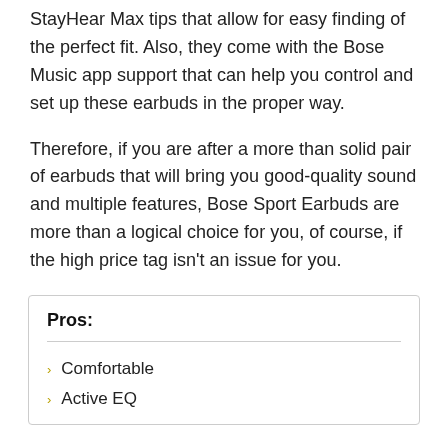StayHear Max tips that allow for easy finding of the perfect fit. Also, they come with the Bose Music app support that can help you control and set up these earbuds in the proper way.
Therefore, if you are after a more than solid pair of earbuds that will bring you good-quality sound and multiple features, Bose Sport Earbuds are more than a logical choice for you, of course, if the high price tag isn’t an issue for you.
Pros:
Comfortable
Active EQ